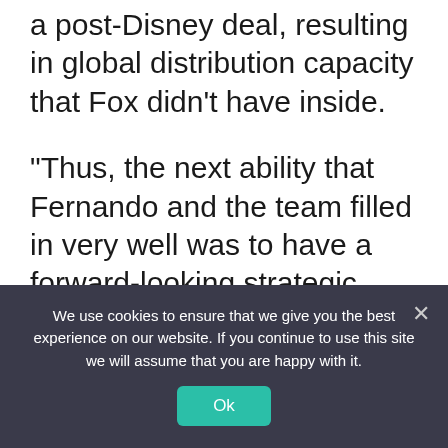a post-Disney deal, resulting in global distribution capacity that Fox didn't have inside.
“Thus, the next ability that Fernando and the team filled in very well was to have a forward-looking strategic production and distribution entity that is globally respected,” Collier said in an interview with Deadline. “We looked at the market. We spoke to a number of players. We wanted something with a disciplined approach and an
We use cookies to ensure that we give you the best experience on our website. If you continue to use this site we will assume that you are happy with it.